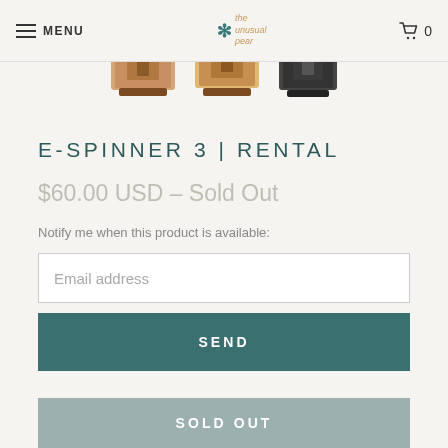MENU | the unusual pear | 0
[Figure (photo): Three e-spinner devices shown in a row: two wooden/natural colored spinners and one dark/black spinner]
E-SPINNER 3 | RENTAL
$60.00 USD – Sold Out
Notify me when this product is available:
Email address
SEND
SOLD OUT